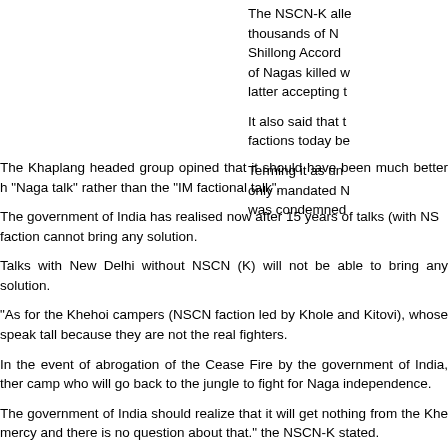The NSCN-K alle thousands of N Shillong Accord of Nagas killed w latter accepting t
It also said that factions today be
Terming it as un only mandated N was condemned
The Khaplang headed group opined that it should have been much better h "Naga talk" rather than the "IM factional talk".
The government of India has realised now after 15 years of talks (with NSC faction cannot bring any solution.
Talks with New Delhi without NSCN (K) will not be able to bring any solution.
"As for the Khehoi campers (NSCN faction led by Khole and Kitovi), whose speak tall because they are not the real fighters.
In the event of abrogation of the Cease Fire by the government of India, ther camp who will go back to the jungle to fight for Naga independence.
The government of India should realize that it will get nothing from the Khe mercy and there is no question about that." the NSCN-K stated.